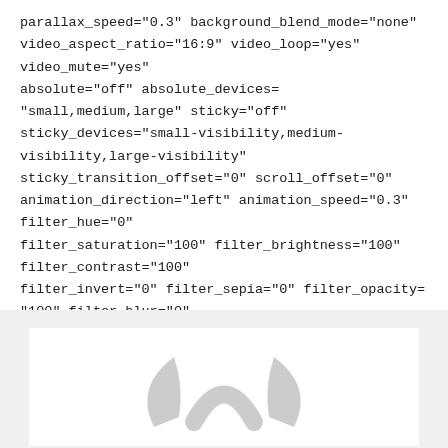parallax_speed="0.3" background_blend_mode="none" video_aspect_ratio="16:9" video_loop="yes" video_mute="yes" absolute="off" absolute_devices="small,medium,large" sticky="off" sticky_devices="small-visibility,medium-visibility,large-visibility" sticky_transition_offset="0" scroll_offset="0" animation_direction="left" animation_speed="0.3" filter_hue="0" filter_saturation="100" filter_brightness="100" filter_contrast="100" filter_invert="0" filter_sepia="0" filter_opacity="100" filter_blur="0" filter_hue_hover="0" filter_saturation_hover="100" filter_brightness_hover="100" filter_contrast_hover="100" filter_invert_hover="0" …
Leggi altro »
[Figure (logo): A partial logo image showing a grey bird or abstract shape on a white card background]